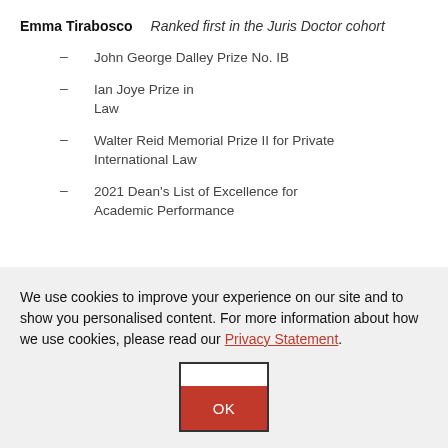Emma Tirabosco — Ranked first in the Juris Doctor cohort
John George Dalley Prize No. IB
Ian Joye Prize in Law
Walter Reid Memorial Prize II for Private International Law
2021 Dean's List of Excellence for Academic Performance
We use cookies to improve your experience on our site and to show you personalised content. For more information about how we use cookies, please read our Privacy Statement.